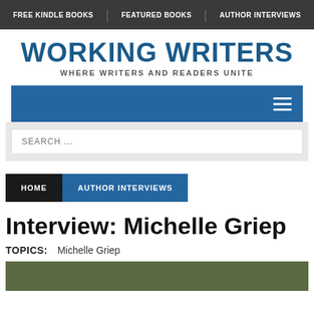FREE KINDLE BOOKS | FEATURED BOOKS | AUTHOR INTERVIEWS
WORKING WRITERS
WHERE WRITERS AND READERS UNITE
[Figure (screenshot): Blue navigation bar with hamburger menu icon on the right]
SEARCH ...
HOME   AUTHOR INTERVIEWS
Interview: Michelle Griep
TOPICS:   Michelle Griep
[Figure (photo): Partial photo of Michelle Griep with dark green background, cropped at bottom of page]